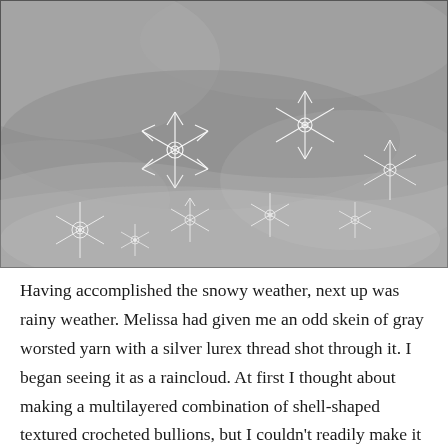[Figure (photo): Black and white photograph of multiple crocheted snowflakes of various sizes arranged on a gray fabric background.]
Having accomplished the snowy weather, next up was rainy weather. Melissa had given me an odd skein of gray worsted yarn with a silver lurex thread shot through it. I began seeing it as a raincloud. At first I thought about making a multilayered combination of shell-shaped textured crocheted bullions, but I couldn't readily make it